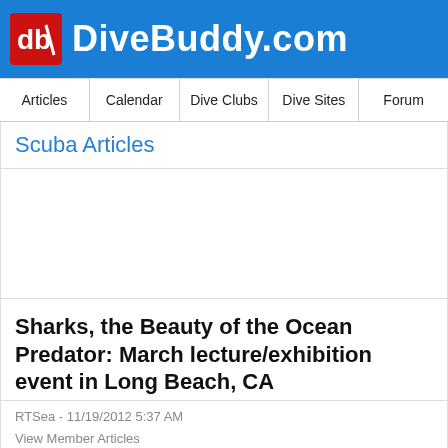DiveBuddy.com
Articles | Calendar | Dive Clubs | Dive Sites | Forum
Scuba Articles
[Figure (other): Advertisement placeholder box]
Sharks, the Beauty of the Ocean Predator: March lecture/exhibition event in Long Beach, CA
RTSea - 11/19/2012 5:37 AM
View Member Articles
Category: External Blogs
Comments: 0